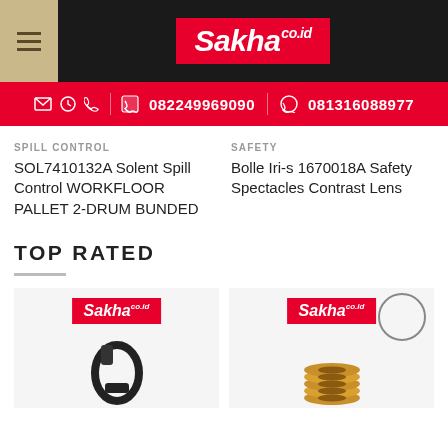Sakha co.id — header navigation bar
082249969090  081316088977
SPILL CONTROL
SOL7410132A Solent Spill Control WORKFLOOR PALLET 2-DRUM BUNDED
SAFETY
Bolle Iri-s 1670018A Safety Spectacles Contrast Lens
TOP RATED
[Figure (screenshot): Two product thumbnail cards with Sakha co.id logos, showing safety product images]
[Figure (photo): Black clip/carabiner product image at bottom left]
[Figure (photo): Yellow/gold spring washers product image at bottom right]